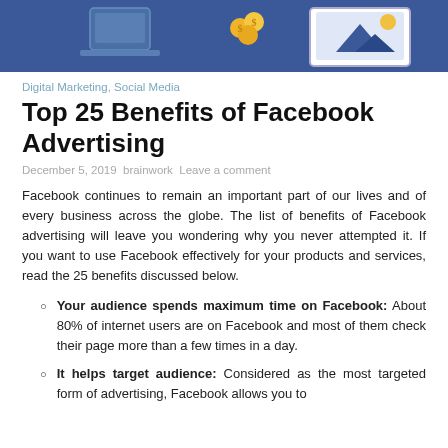[Figure (illustration): Banner image with blue Facebook-themed background showing icons including a laptop and mountain/image placeholder graphic]
Digital Marketing, Social Media
Top 25 Benefits of Facebook Advertising
December 5, 2019 brainwork Leave a comment
Facebook continues to remain an important part of our lives and of every business across the globe. The list of benefits of Facebook advertising will leave you wondering why you never attempted it. If you want to use Facebook effectively for your products and services, read the 25 benefits discussed below.
Your audience spends maximum time on Facebook: About 80% of internet users are on Facebook and most of them check their page more than a few times in a day.
It helps target audience: Considered as the most targeted form of advertising, Facebook allows you to